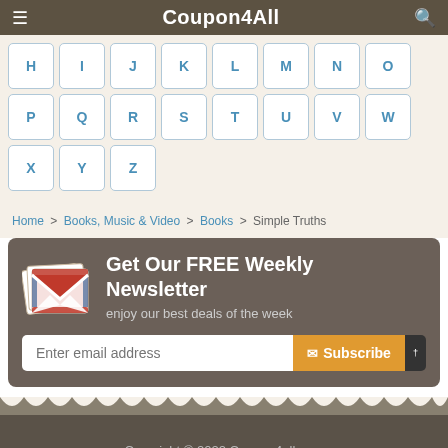Coupon4All
[Figure (other): Alphabet navigation buttons: rows of letter buttons H I J K L M N O / P Q R S T U V W / X Y Z]
Home > Books, Music & Video > Books > Simple Truths
[Figure (other): Newsletter signup box with Gmail-style envelope icon, text 'Get Our FREE Weekly Newsletter - enjoy our best deals of the week', email input and Subscribe button]
Copyright © 2022 Coupon4all.com